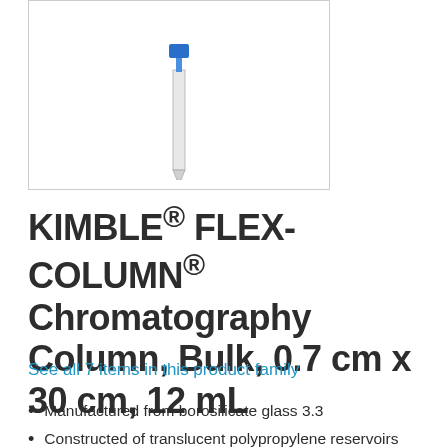[Figure (photo): A chromatography column with a narrow glass barrel and a blue polypropylene connector/reservoir at the top, shown against a white background inside a bordered box.]
KIMBLE® FLEX-COLUMN® Chromatography Column, Bulk, 0.7 cm x 30 cm, 12 mL
See all 7 items in this product family
Manufactured from borosilicate glass 3.3
Constructed of translucent polypropylene reservoirs and column outlets permanently connected to a borosilicate glass barrel with